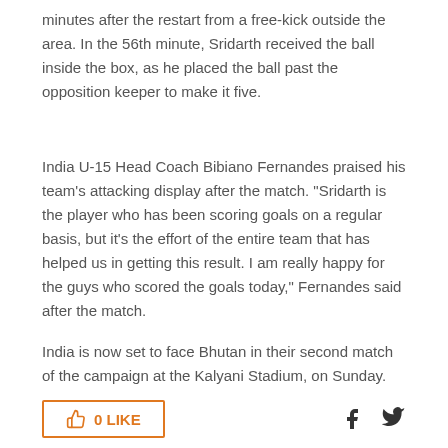minutes after the restart from a free-kick outside the area. In the 56th minute, Sridarth received the ball inside the box, as he placed the ball past the opposition keeper to make it five.
India U-15 Head Coach Bibiano Fernandes praised his team's attacking display after the match. "Sridarth is the player who has been scoring goals on a regular basis, but it's the effort of the entire team that has helped us in getting this result. I am really happy for the guys who scored the goals today," Fernandes said after the match.
India is now set to face Bhutan in their second match of the campaign at the Kalyani Stadium, on Sunday.
[Figure (other): Like button (0 LIKE) with thumbs-up icon in orange border, and Facebook and Twitter social share icons]